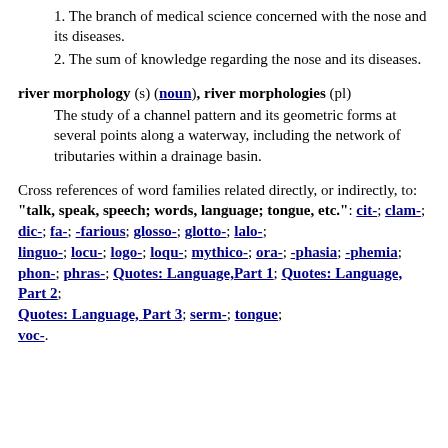1. The branch of medical science concerned with the nose and its diseases.
2. The sum of knowledge regarding the nose and its diseases.
river morphology (s) (noun), river morphologies (pl)
The study of a channel pattern and its geometric forms at several points along a waterway, including the network of tributaries within a drainage basin.
Cross references of word families related directly, or indirectly, to: "talk, speak, speech; words, language; tongue, etc.": cit-; clam-; dic-; fa-; -farious; glosso-; glotto-; lalo-; linguo-; locu-; logo-; loqu-; mythico-; ora-; -phasia; -phemia; phon-; phras-; Quotes: Language,Part 1; Quotes: Language, Part 2; Quotes: Language, Part 3; serm-; tongue; voc-.